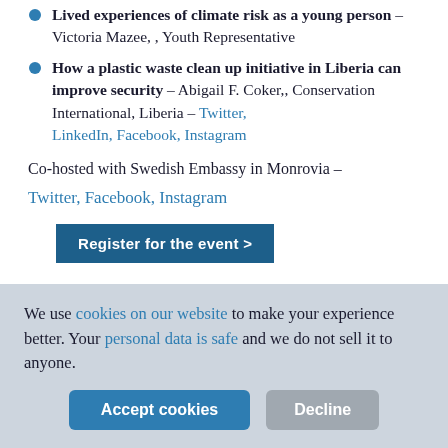Lived experiences of climate risk as a young person – Victoria Mazee, , Youth Representative
How a plastic waste clean up initiative in Liberia can improve security – Abigail F. Coker,, Conservation International, Liberia – Twitter, LinkedIn, Facebook, Instagram
Co-hosted with Swedish Embassy in Monrovia – Twitter, Facebook, Instagram
Register for the event >
We use cookies on our website to make your experience better. Your personal data is safe and we do not sell it to anyone.
Accept cookies | Decline